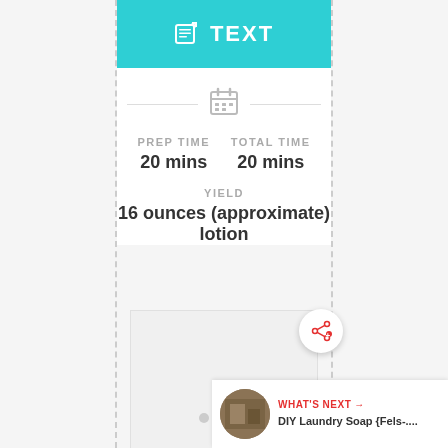TEXT
PREP TIME
20 mins
TOTAL TIME
20 mins
YIELD
16 ounces (approximate) lotion
[Figure (photo): Light gray image placeholder area]
WHAT'S NEXT → DIY Laundry Soap {Fels-....